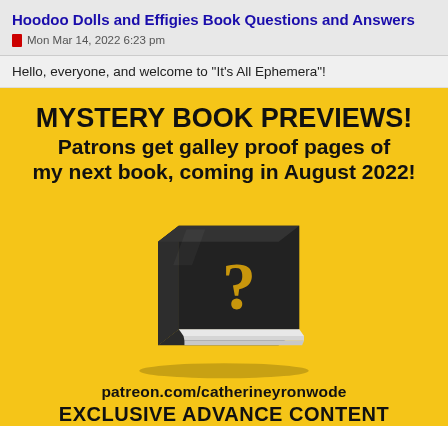Hoodoo Dolls and Effigies Book Questions and Answers
Mon Mar 14, 2022 6:23 pm
Hello, everyone, and welcome to "It's All Ephemera"!
[Figure (infographic): Yellow background promotional image for mystery book previews on Patreon. Features bold black text 'MYSTERY BOOK PREVIEWS! Patrons get galley proof pages of my next book, coming in August 2022!' above a 3D rendered black book with a gold question mark on the cover. Below shows 'patreon.com/catherineyronwode' and 'EXCLUSIVE ADVANCE CONTENT'.]